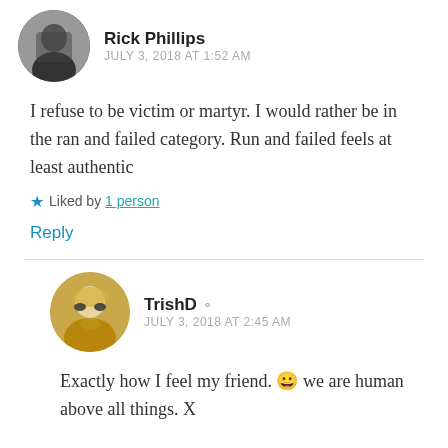Rick Phillips
JULY 3, 2018 AT 1:52 AM
I refuse to be victim or martyr. I would rather be in the ran and failed category. Run and failed feels at least authentic
Liked by 1 person
Reply
TrishD
JULY 3, 2018 AT 2:45 AM
Exactly how I feel my friend. 😀 we are human above all things. X